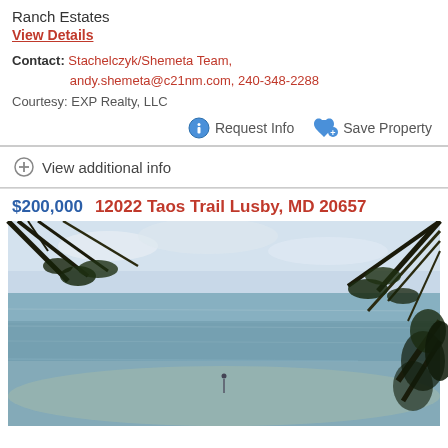Ranch Estates
View Details
Contact: Stachelczyk/Shemeta Team, andy.shemeta@c21nm.com, 240-348-2288
Courtesy: EXP Realty, LLC
Request Info
Save Property
View additional info
$200,000   12022 Taos Trail Lusby, MD 20657
[Figure (photo): Outdoor beach/waterfront scene with ocean water, light sky, and tree branches framing the top and right of the image. A small figure is visible on the shoreline in the middle distance.]